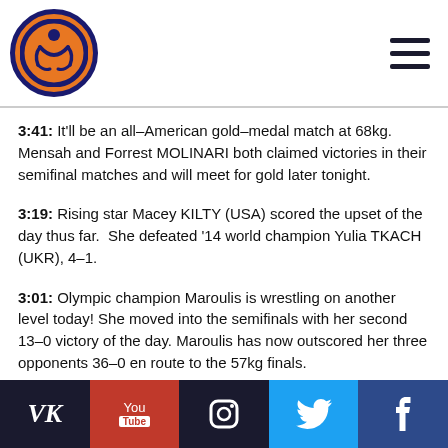Wrestling logo and navigation menu
3:41: It'll be an all-American gold-medal match at 68kg. Mensah and Forrest MOLINARI both claimed victories in their semifinal matches and will meet for gold later tonight.
3:19: Rising star Macey KILTY (USA) scored the upset of the day thus far. She defeated '14 world champion Yulia TKACH (UKR), 4-1.
3:01: Olympic champion Maroulis is wrestling on another level today! She moved into the semifinals with her second 13-0 victory of the day. Maroulis has now outscored her three opponents 36-0 en route to the 57kg finals.
3:00: The semifinals are underway!
VK | YouTube | Instagram | Twitter | Facebook